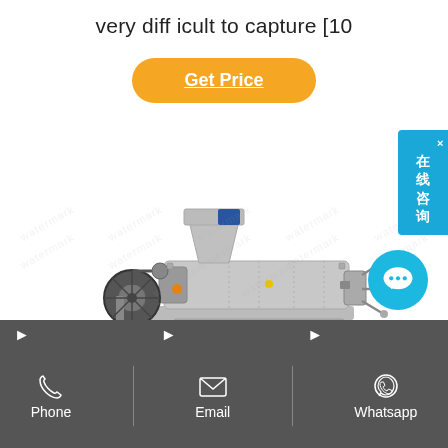very difficult to capture [10
[Figure (other): Orange rounded rectangle button labeled 'Get Price' with underlined white text]
[Figure (photo): Industrial oil press machine (screw expeller press) in gray/silver color with hopper, motor, and base, shown on white background with diagonal watermark text]
[Figure (other): Cyan circular chat button with ellipsis (three dots) speech bubble icon]
[Figure (other): Blue vertical side panel with Chinese text '在线咨询' (online consultation) and a close X button]
[Figure (infographic): Dark gray footer bar with three sections each showing an icon and label: phone icon with 'Phone', email envelope icon with 'Email', WhatsApp icon with 'Whatsapp'. Each section separated by arrow markers at top.]